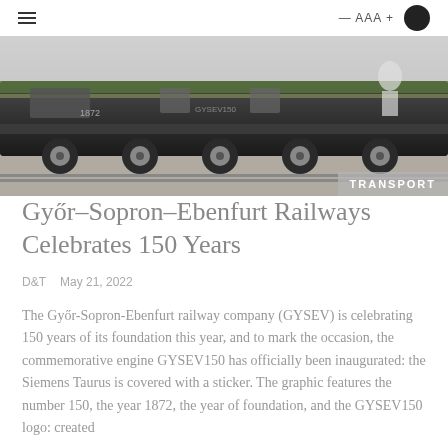≡  — AAA + 🌙
[Figure (photo): A train locomotive (Siemens Taurus/GYSEV) photographed from the side, showing green and black livery with decorative numbering. TRANSPORT badge overlaid bottom-right.]
Győr–Sopron–Ebenfurt Railways Celebrates 150 Years
D&T   May 21, 2022
The Győr-Sopron-Ebenfurt railway company (GYSEV) is celebrating 150 years of its foundation this year, and to mark the occasion, the commemorative engine GYSEV150 has officially been inaugurated: the Siemens Taurus is covered with a sticker. The graphic features the number 150, the year 1872, the year of foundation, and the GYSEV150 logo: created